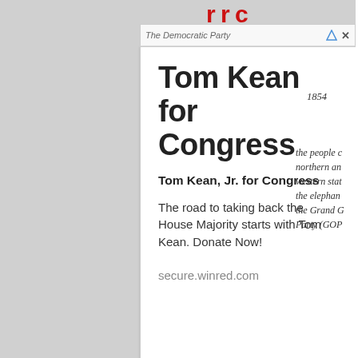[Figure (screenshot): Partial red logo letters visible at top center of page (appears to be a news/media website header)]
The Democratic Party
[Figure (screenshot): Advertisement overlay box for Tom Kean for Congress campaign]
Tom Kean for Congress
Tom Kean, Jr. for Congress
The road to taking back the House Majority starts with Tom Kean. Donate Now!
secure.winred.com
1854
the people c northern an western stat the elephant the Grand G Party (GOP
Reince Prie (chairman) Boehner (th Speaker)
¶ more conservative views ¶ they think that so programmes rather costly may hurt th economy ¶ t rely more o private